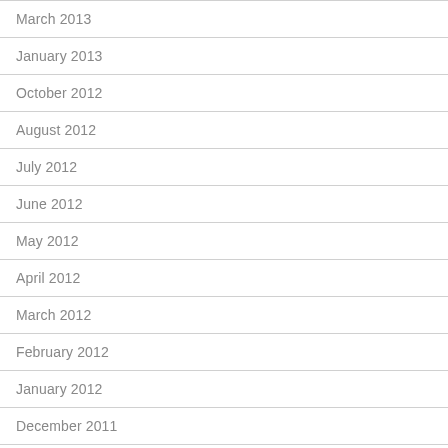March 2013
January 2013
October 2012
August 2012
July 2012
June 2012
May 2012
April 2012
March 2012
February 2012
January 2012
December 2011
November 2011